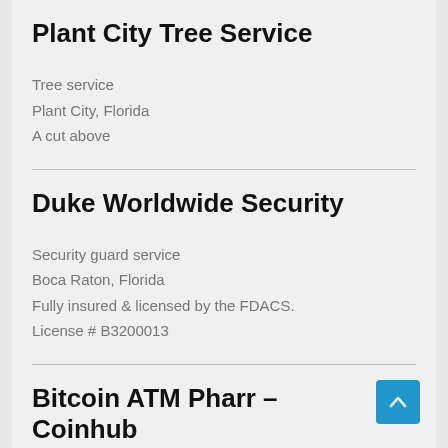Plant City Tree Service
Tree service
Plant City, Florida
A cut above
Duke Worldwide Security
Security guard service
Boca Raton, Florida
Fully insured & licensed by the FDACS. License # B3200013
Bitcoin ATM Pharr – Coinhub
ATM